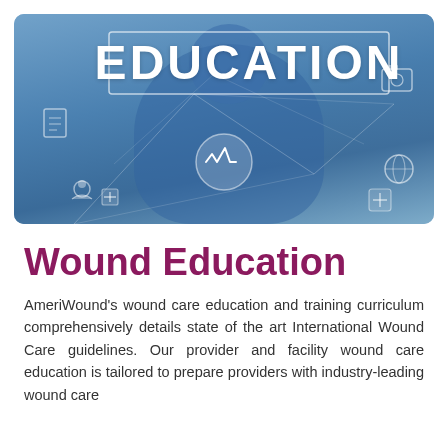[Figure (photo): Healthcare professional in blue scrubs with stethoscope, overlaid with digital health icons and the word EDUCATION in large white bold text with a border box, along with various medical interface icons including heart monitor, globe, document, camera, and person icons on a light grid background.]
Wound Education
AmeriWound's wound care education and training curriculum comprehensively details state of the art International Wound Care guidelines. Our provider and facility wound care education is tailored to prepare providers with industry-leading wound care